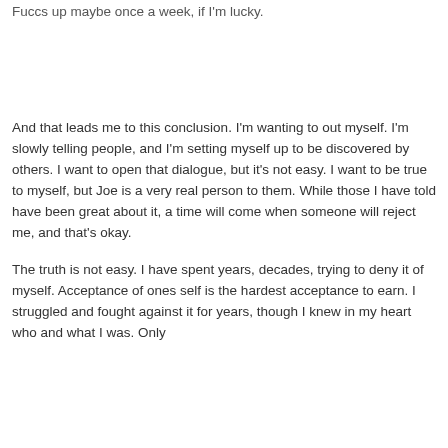Fuccs up maybe once a week, if I'm lucky.
And that leads me to this conclusion. I'm wanting to out myself. I'm slowly telling people, and I'm setting myself up to be discovered by others. I want to open that dialogue, but it's not easy. I want to be true to myself, but Joe is a very real person to them. While those I have told have been great about it, a time will come when someone will reject me, and that's okay.
The truth is not easy. I have spent years, decades, trying to deny it of myself. Acceptance of ones self is the hardest acceptance to earn. I struggled and fought against it for years, though I knew in my heart who and what I was. Only
Privacy & Cookies: This site uses cookies. By continuing to use this website, you agree to their use.
To find out more, including how to control cookies, see here: Cookie Policy